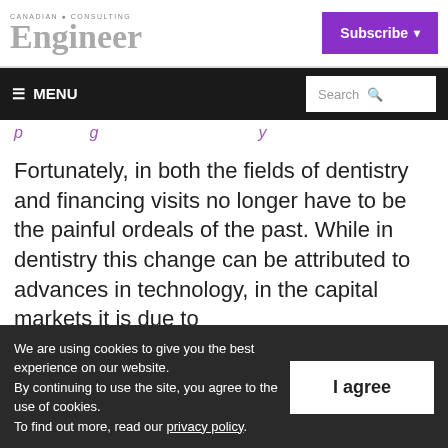CANADIAN • CONSULTING Engineer — Subscribe
≡ MENU   Search
Fortunately, in both the fields of dentistry and financing visits no longer have to be the painful ordeals of the past. While in dentistry this change can be attributed to advances in technology, in the capital markets it is due to
We are using cookies to give you the best experience on our website. By continuing to use the site, you agree to the use of cookies. To find out more, read our privacy policy.